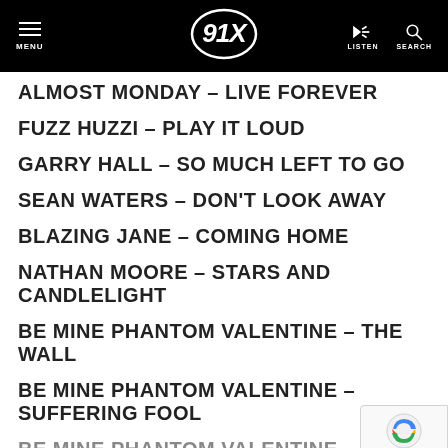91X — MENU, LISTEN, SEARCH navigation bar
ALMOST MONDAY – LIVE FOREVER
FUZZ HUZZI – PLAY IT LOUD
GARRY HALL – SO MUCH LEFT TO GO
SEAN WATERS – DON'T LOOK AWAY
BLAZING JANE – COMING HOME
NATHAN MOORE – STARS AND CANDLELIGHT
BE MINE PHANTOM VALENTINE – THE WALL
BE MINE PHANTOM VALENTINE – SUFFERING FOOL
BE MINE PHANTOM VALENTINE – [NEXT]